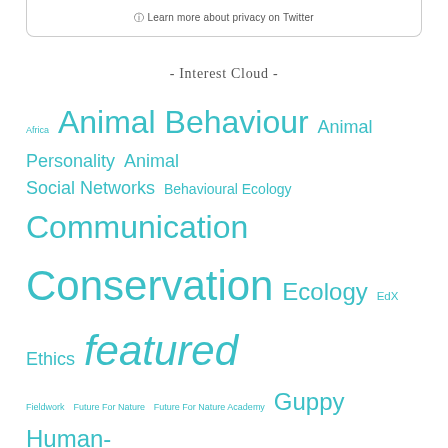Learn more about privacy on Twitter
- Interest Cloud -
Africa Animal Behaviour Animal Personality Animal Social Networks Behavioural Ecology Communication Conservation Ecology EdX Ethics featured Fieldwork Future For Nature Future For Nature Academy Guppy Human-Wildlife conflict IGB Lysanne Snijders MOOC Nature Nature Today Policy Publications Science Social Networks Social Sciences Stories Trinidad Wageningen University Wageningen University & Research